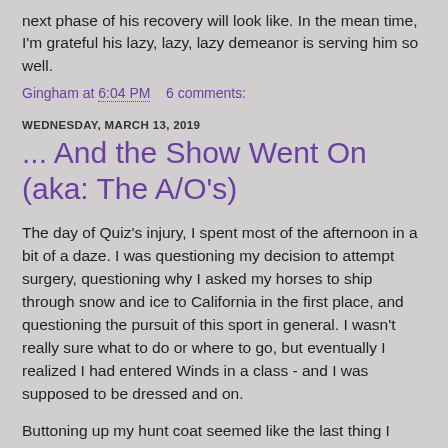next phase of his recovery will look like.  In the mean time, I'm grateful his lazy, lazy, lazy demeanor is serving him so well.
Gingham at 6:04 PM    6 comments:
WEDNESDAY, MARCH 13, 2019
... And the Show Went On (aka: The A/O's)
The day of Quiz's injury, I spent most of the afternoon in a bit of a daze.  I was questioning my decision to attempt surgery, questioning why I asked my horses to ship through snow and ice to California in the first place, and questioning the pursuit of this sport in general.  I wasn't really sure what to do or where to go, but eventually I realized I had entered Winds in a class - and I was supposed to be dressed and on.
Buttoning up my hunt coat seemed like the last thing I should be doing, but one of my barnmates looked at me and told me that nothing could possibly help more in this situation than